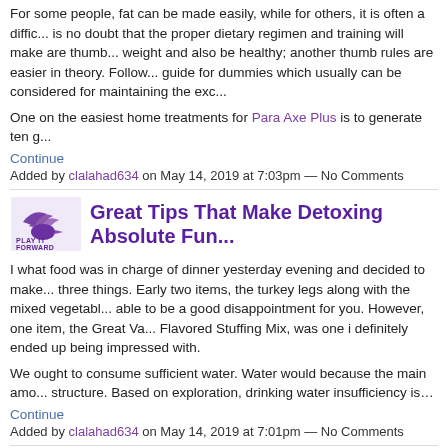For some people, fat can be made easily, while for others, it is often a diffic... is no doubt that the proper dietary regimen and training will make are thumb... weight and also be healthy; another thumb rules are easier in theory. Follow... guide for dummies which usually can be considered for maintaining the exc...
One on the easiest home treatments for Para Axe Plus is to generate ten g...
Continue
Added by clalahad634 on May 14, 2019 at 7:03pm — No Comments
[Figure (logo): Play It Forward logo - purple bird/swoosh icon with text PLAY IT FORWARD]
Great Tips That Make Detoxing Absolute Fun...
I what food was in charge of dinner yesterday evening and decided to make... three things. Early two items, the turkey legs along with the mixed vegetabl... able to be a good disappointment for you. However, one item, the Great Va... Flavored Stuffing Mix, was one i definitely ended up being impressed with.
We ought to consume sufficient water. Water would because the main amo... structure. Based on exploration, drinking water insufficiency is…
Continue
Added by clalahad634 on May 14, 2019 at 7:01pm — No Comments
[Figure (logo): Play It Forward logo - purple bird/swoosh icon with text PLAY IT FORWARD]
Dieting Supplements - 3 Common Mistakes P...
Raspberry ketone is getting really famous after recent studies conducted by...